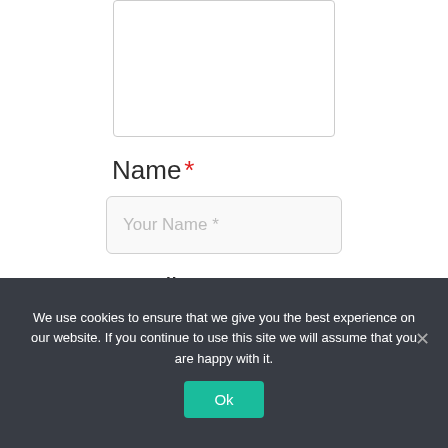[Figure (screenshot): Partial textarea input box with grey border, top portion visible]
Name *
[Figure (screenshot): Text input field with placeholder text 'Your Name *']
Email *
We use cookies to ensure that we give you the best experience on our website. If you continue to use this site we will assume that you are happy with it.
Ok